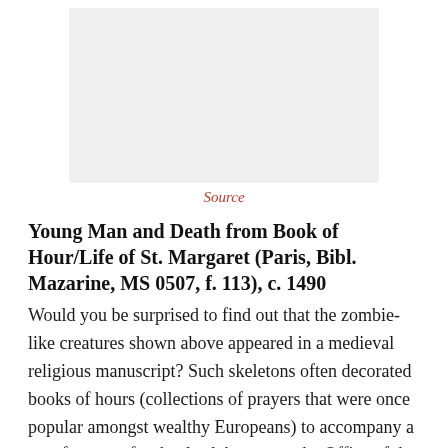[Figure (photo): A light grey rectangular placeholder representing an image from a medieval manuscript showing a young man and death (zombie-like/skeleton figures).]
Source
Young Man and Death from Book of Hour/Life of St. Margaret (Paris, Bibl. Mazarine, MS 0507, f. 113), c. 1490
Would you be surprised to find out that the zombie-like creatures shown above appeared in a medieval religious manuscript? Such skeletons often decorated books of hours (collections of prayers that were once popular amongst wealthy Europeans) to accompany a set of prayers for the dead, known as the Office of the Dead.